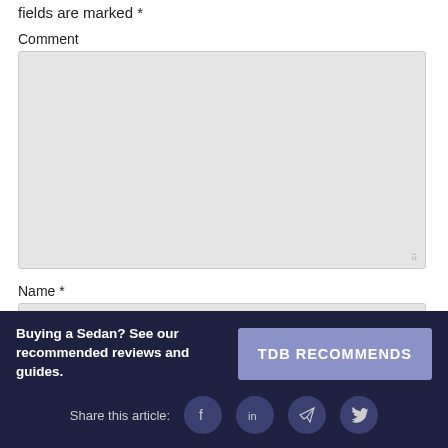fields are marked *
Comment
Name *
Buying a Sedan? See our recommended reviews and guides.
TDB RECOMMENDS
Share this article: